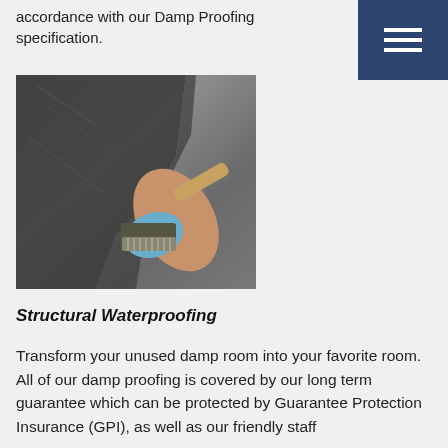accordance with our Damp Proofing specification.
[Figure (photo): A person wearing a blue glove applying dark waterproofing/damp proofing material to a concrete wall using a large brush with wooden handle]
Structural Waterproofing
Transform your unused damp room into your favorite room. All of our damp proofing is covered by our long term guarantee which can be protected by Guarantee Protection Insurance (GPI), as well as our friendly staff